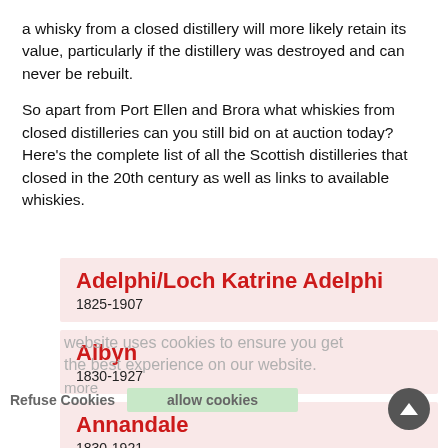a whisky from a closed distillery will more likely retain its value, particularly if the distillery was destroyed and can never be rebuilt.
So apart from Port Ellen and Brora what whiskies from closed distilleries can you still bid on at auction today? Here's the complete list of all the Scottish distilleries that closed in the 20th century as well as links to available whiskies.
Adelphi/Loch Katrine Adelphi
1825-1907
Albyn
1830-1927
Annandale
1830-1921